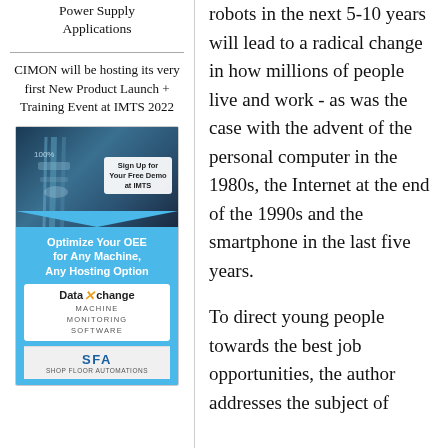Power Supply Applications
CIMON will be hosting its very first New Product Launch + Training Event at IMTS 2022
[Figure (photo): Advertisement for DataXchange Machine Monitoring Software by SFA, with option to sign up for free demo at IMTS, promoting OEE optimization for any machine and any hosting option.]
robots in the next 5-10 years will lead to a radical change in how millions of people live and work - as was the case with the advent of the personal computer in the 1980s, the Internet at the end of the 1990s and the smartphone in the last five years.
To direct young people towards the best job opportunities, the author addresses the subject of